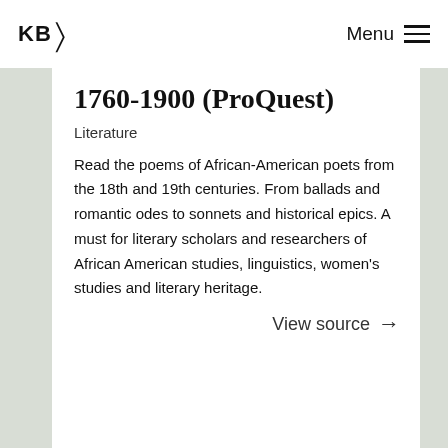KB Menu
1760-1900 (ProQuest)
Literature
Read the poems of African-American poets from the 18th and 19th centuries. From ballads and romantic odes to sonnets and historical epics. A must for literary scholars and researchers of African American studies, linguistics, women's studies and literary heritage.
View source →